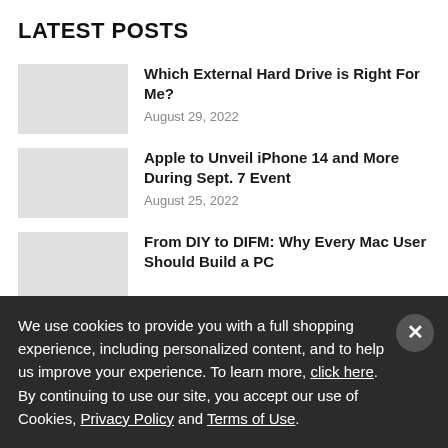LATEST POSTS
Which External Hard Drive is Right For Me?
August 29, 2022
Apple to Unveil iPhone 14 and More During Sept. 7 Event
August 25, 2022
From DIY to DIFM: Why Every Mac User Should Build a PC
We use cookies to provide you with a full shopping experience, including personalized content, and to help us improve your experience. To learn more, click here.
By continuing to use our site, you accept our use of Cookies, Privacy Policy and Terms of Use.